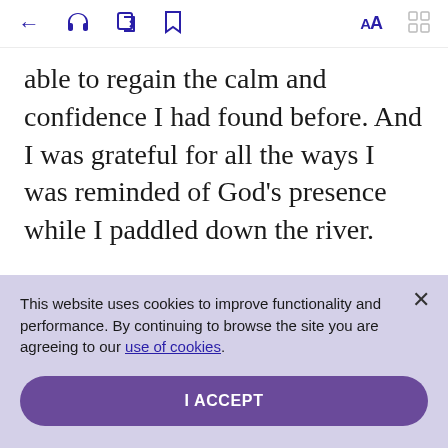← 🎧 ↗ 🔖 AA [grid icon]
able to regain the calm and confidence I had found before. And I was grateful for all the ways I was reminded of God's presence while I paddled down the river.
This website uses cookies to improve functionality and performance. By continuing to browse the site you are agreeing to our use of cookies.
I ACCEPT